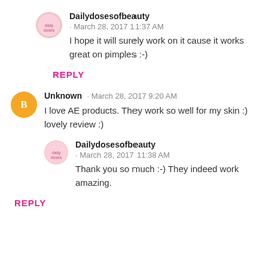[Figure (illustration): Small circular avatar with pink logo for Dailydosesofbeauty]
Dailydosesofbeauty · March 28, 2017 11:37 AM
I hope it will surely work on it cause it works great on pimples :-)
REPLY
[Figure (illustration): Orange circular Blogger avatar icon for Unknown]
Unknown · March 28, 2017 9:20 AM
I love AE products. They work so well for my skin :) lovely review :)
[Figure (illustration): Small circular avatar with pink logo for Dailydosesofbeauty]
Dailydosesofbeauty · March 28, 2017 11:38 AM
Thank you so much :-) They indeed work amazing.
REPLY